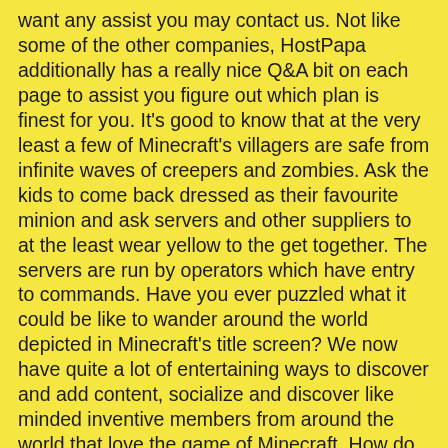want any assist you may contact us. Not like some of the other companies, HostPapa additionally has a really nice Q&A bit on each page to assist you figure out which plan is finest for you. It's good to know that at the very least a few of Minecraft's villagers are safe from infinite waves of creepers and zombies. Ask the kids to come back dressed as their favourite minion and ask servers and other suppliers to at the least wear yellow to the get together. The servers are run by operators which have entry to commands. Have you ever puzzled what it could be like to wander around the world depicted in Minecraft's title screen? We now have quite a lot of entertaining ways to discover and add content, socialize and discover like minded inventive members from around the world that love the game of Minecraft. How do you say i love you backwards? If so, you're in luck - after nearly ten years, you're finally capable of explore the one biome each Minecraft participant in historical past has laid eyes on.
Unfortunately, this one is just obtainable for Java gamers, that means anybody operating Bedrock is out of luck. You might battle getting back up in case you